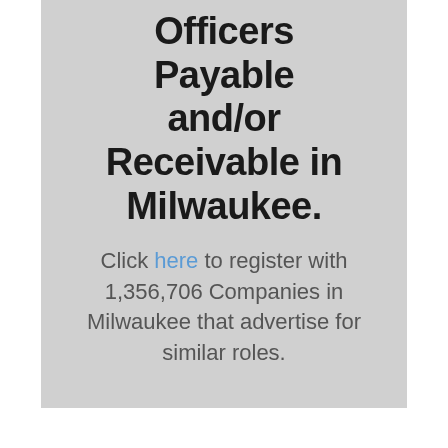Officers Payable and/or Receivable in Milwaukee.
Click here to register with 1,356,706 Companies in Milwaukee that advertise for similar roles.